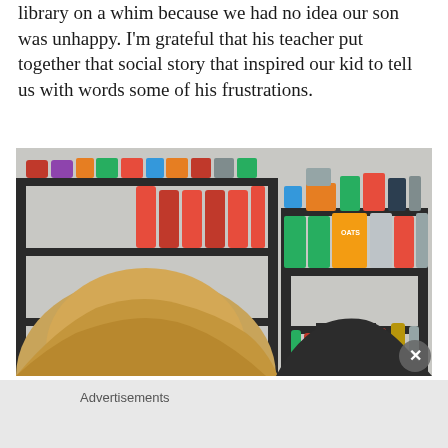library on a whim because we had no idea our son was unhappy. I'm grateful that his teacher put together that social story that inspired our kid to tell us with words some of his frustrations.
[Figure (photo): A person with blonde hair seen from behind, standing in front of metal shelving units stocked with canned goods, oatmeal boxes, bottles, and other pantry food items. A close button (X) is visible in the bottom right corner.]
Advertisements